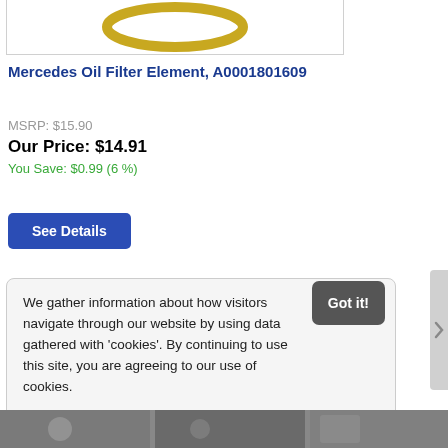[Figure (photo): Partial view of Mercedes oil filter element (gold ring/gasket) in product listing image box]
Mercedes Oil Filter Element, A0001801609
MSRP: $15.90
Our Price: $14.91
You Save: $0.99 (6 %)
See Details
We gather information about how visitors navigate through our website by using data gathered with 'cookies'. By continuing to use this site, you are agreeing to our use of cookies.
Learn more
Got it!
[Figure (photo): Bottom strip showing partial product images]